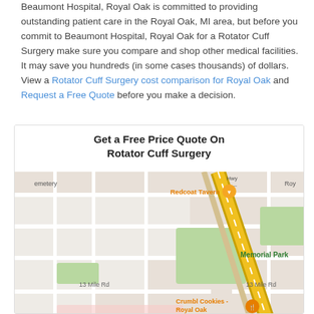Beaumont Hospital, Royal Oak is committed to providing outstanding patient care in the Royal Oak, MI area, but before you commit to Beaumont Hospital, Royal Oak for a Rotator Cuff Surgery make sure you compare and shop other medical facilities. It may save you hundreds (in some cases thousands) of dollars. View a Rotator Cuff Surgery cost comparison for Royal Oak and Request a Free Quote before you make a decision.
[Figure (map): Google Maps screenshot showing the location of Beaumont Hospital, Royal Oak, MI, with nearby landmarks including Redcoat Tavern, Memorial Park, Crumbl Cookies - Royal Oak, and street labels including 13 Mile Rd. A major road (highway) runs diagonally through the map.]